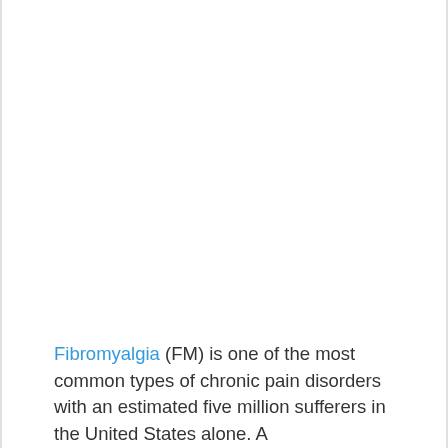Fibromyalgia (FM) is one of the most common types of chronic pain disorders with an estimated five million sufferers in the United States alone. A